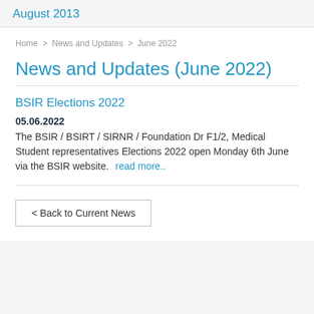August 2013
Home > News and Updates > June 2022
News and Updates (June 2022)
BSIR Elections 2022
05.06.2022
The BSIR / BSIRT / SIRNR / Foundation Dr F1/2, Medical Student representatives Elections 2022 open Monday 6th June via the BSIR website.  read more..
< Back to Current News